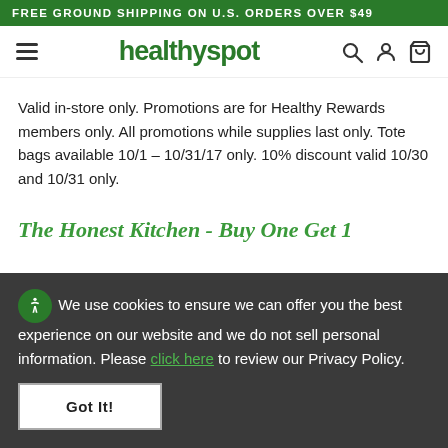FREE GROUND SHIPPING ON U.S. ORDERS OVER $49
[Figure (logo): Healthy Spot logo with hamburger menu and navigation icons]
Valid in-store only. Promotions are for Healthy Rewards members only. All promotions while supplies last only. Tote bags available 10/1 – 10/31/17 only. 10% discount valid 10/30 and 10/31 only.
The Honest Kitchen - Buy One Get 1
We use cookies to ensure we can offer you the best experience on our website and we do not sell personal information. Please click here to review our Privacy Policy.
Got It!